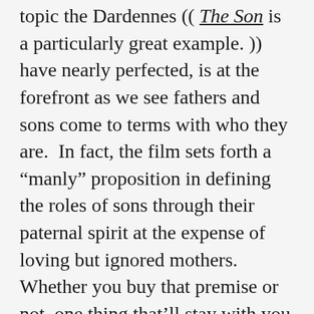topic the Dardennes (( The Son is a particularly great example. )) have nearly perfected, is at the forefront as we see fathers and sons come to terms with who they are.  In fact, the film sets forth a “manly” proposition in defining the roles of sons through their paternal spirit at the expense of loving but ignored mothers.  Whether you buy that premise or not, one thing that’ll stay with you is the performance of Dane DeHaan (( Soon to be famous as Harry Osborne in The Amazing-Spider Man 2. )), whose turn as a fatherless teenager will pour sympathy out of your guts.